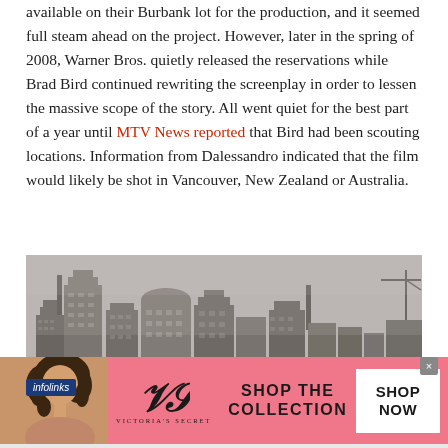available on their Burbank lot for the production, and it seemed full steam ahead on the project. However, later in the spring of 2008, Warner Bros. quietly released the reservations while Brad Bird continued rewriting the screenplay in order to lessen the massive scope of the story. All went quiet for the best part of a year until MTV News reported that Bird had been scouting locations. Information from Dalessandro indicated that the film would likely be shot in Vancouver, New Zealand or Australia.
[Figure (photo): Black and white photograph of a city skyline with tall buildings under construction or in early 20th century style, smoky/hazy atmosphere]
[Figure (screenshot): Victoria's Secret advertisement banner: pink background with a model, VS logo, text 'SHOP THE COLLECTION', and a white 'SHOP NOW' button]